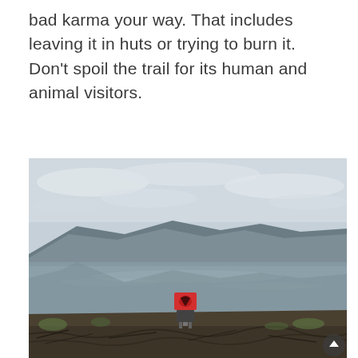bad karma your way. That includes leaving it in huts or trying to burn it. Don't spoil the trail for its human and animal visitors.
[Figure (photo): Outdoor landscape photo showing a calm lake or fjord with rocky hills/mountains in the background under an overcast cloudy sky. In the foreground, there is rocky/root-covered ground with sparse green vegetation, and a small red and black camping stove or canister standing upright near the water's edge. A small circular scroll/navigation button with an upward arrow appears in the bottom-right corner of the image.]